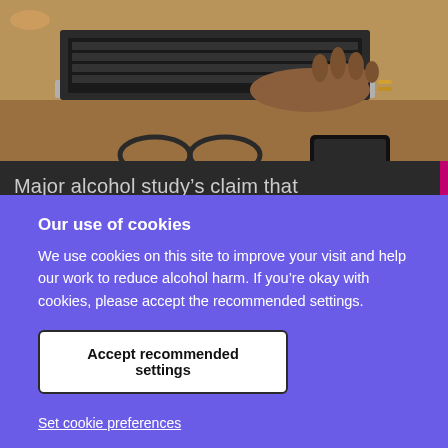[Figure (photo): Person's hands typing on a laptop keyboard on a wooden desk, with glasses and a smartphone visible nearby]
Major alcohol study's claim that
Our use of cookies
We use cookies on this site to improve your visit and help our work to reduce alcohol harm. If you're okay with cookies, please accept the recommended settings.
Accept recommended settings
Set cookie preferences